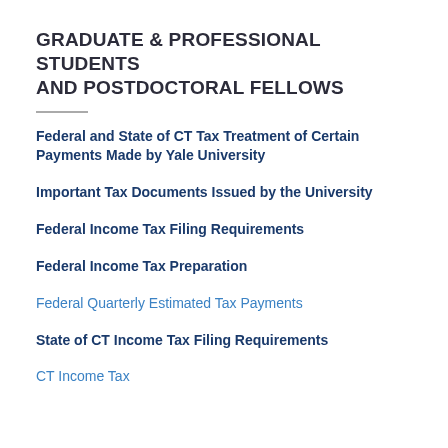GRADUATE & PROFESSIONAL STUDENTS AND POSTDOCTORAL FELLOWS
Federal and State of CT Tax Treatment of Certain Payments Made by Yale University
Important Tax Documents Issued by the University
Federal Income Tax Filing Requirements
Federal Income Tax Preparation
Federal Quarterly Estimated Tax Payments
State of CT Income Tax Filing Requirements
CT Income Tax